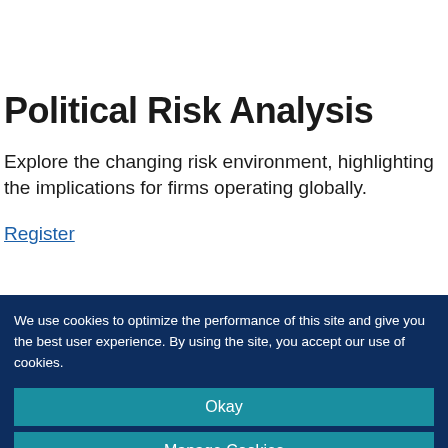Political Risk Analysis
Explore the changing risk environment, highlighting the implications for firms operating globally.
Register
We use cookies to optimize the performance of this site and give you the best user experience. By using the site, you accept our use of cookies.